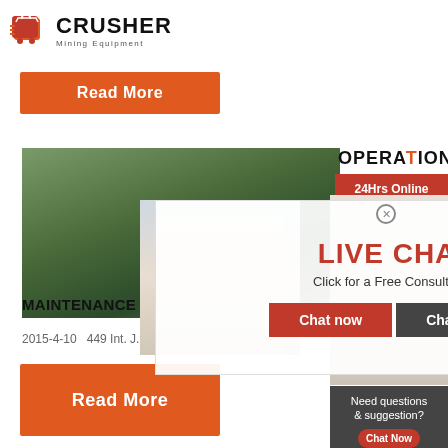[Figure (logo): Crusher Mining Equipment logo with shopping bag icon]
Read More
[Figure (photo): Aerial view of a mining/crusher operation site]
OPERATION
24Hrs Online
[Figure (photo): Group of workers in yellow hard hats at industrial site]
[Figure (photo): Customer service representative with headset]
LIVE CHAT
Click for a Free Consultation
Chat now
Chat later
MAINTENANCE OF CRUSHER H...
2015-4-10   449 Int. J. Mech. Eng. Rob. Res. 2...
Read More
Need questions & suggestion?
Chat Now
Enquiry
limingjlmofen@sina.com